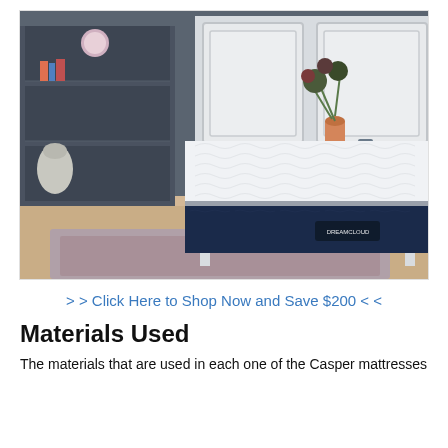[Figure (photo): A DreamCloud mattress displayed on a white bed frame in a modern bedroom with grey walls, a white dresser with an orange vase of flowers on top, and a grey rug on the floor.]
> > Click Here to Shop Now and Save $200 < <
Materials Used
The materials that are used in each one of the Casper mattresses